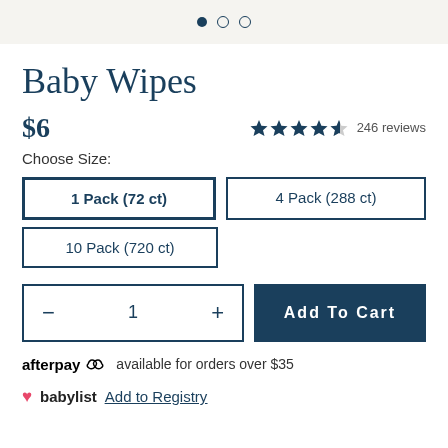● ○ ○
Baby Wipes
$6  ★★★★½  246 reviews
Choose Size:
1 Pack (72 ct)
4 Pack (288 ct)
10 Pack (720 ct)
− 1 +   Add To Cart
afterpay  available for orders over $35
♥ babylist  Add to Registry